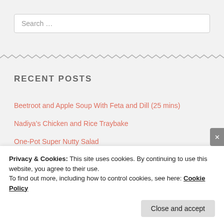Search …
RECENT POSTS
Beetroot and Apple Soup With Feta and Dill (25 mins)
Nadiya's Chicken and Rice Traybake
One-Pot Super Nutty Salad
Gazpacho (Chilled Spanish Tomato Soup)
Family-Friendly Scandinavian Smorgasbord
Privacy & Cookies: This site uses cookies. By continuing to use this website, you agree to their use.
To find out more, including how to control cookies, see here: Cookie Policy
Close and accept